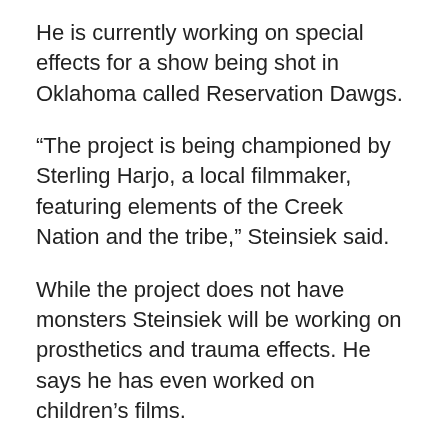He is currently working on special effects for a show being shot in Oklahoma called Reservation Dawgs.
“The project is being championed by Sterling Harjo, a local filmmaker, featuring elements of the Creek Nation and the tribe,” Steinsiek said.
While the project does not have monsters Steinsiek will be working on prosthetics and trauma effects. He says he has even worked on children’s films.
“As long as I am creating I’m happy, it doesn’t have to be monsters although I like monsters most,” Steinsiek said. “It’s really about the act of creating with my hands that I am into.”
A lot his projects begin with drawing and design. His drawings are displayed throughout his studio and one of his favorites to point out is a Native American Post-